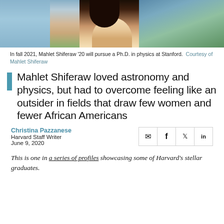[Figure (photo): Photo of Mahlet Shiferaw from above, with ocean and city in background]
In fall 2021, Mahlet Shiferaw '20 will pursue a Ph.D. in physics at Stanford.  Courtesy of Mahlet Shiferaw
Mahlet Shiferaw loved astronomy and physics, but had to overcome feeling like an outsider in fields that draw few women and fewer African Americans
Christina Pazzanese
Harvard Staff Writer
June 9, 2020
This is one in a series of profiles showcasing some of Harvard's stellar graduates.